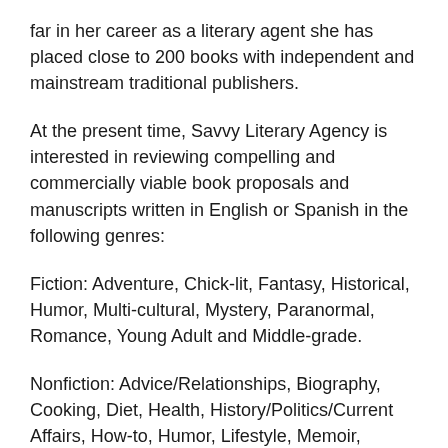far in her career as a literary agent she has placed close to 200 books with independent and mainstream traditional publishers.
At the present time, Savvy Literary Agency is interested in reviewing compelling and commercially viable book proposals and manuscripts written in English or Spanish in the following genres:
Fiction: Adventure, Chick-lit, Fantasy, Historical, Humor, Multi-cultural, Mystery, Paranormal, Romance, Young Adult and Middle-grade.
Nonfiction: Advice/Relationships, Biography, Cooking, Diet, Health, History/Politics/Current Affairs, How-to, Humor, Lifestyle, Memoir, Parenting, Religion/Spirituality and True Crime.